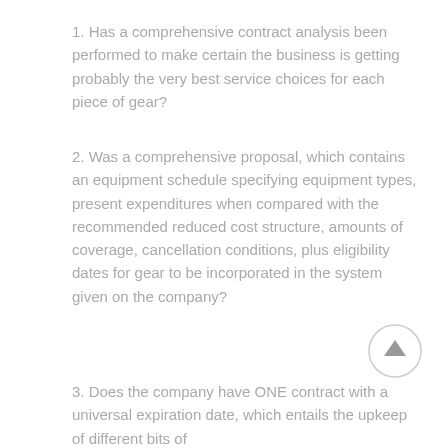1. Has a comprehensive contract analysis been performed to make certain the business is getting probably the very best service choices for each piece of gear?
2. Was a comprehensive proposal, which contains an equipment schedule specifying equipment types, present expenditures when compared with the recommended reduced cost structure, amounts of coverage, cancellation conditions, plus eligibility dates for gear to be incorporated in the system given on the company?
3. Does the company have ONE contract with a universal expiration date, which entails the upkeep of different bits of